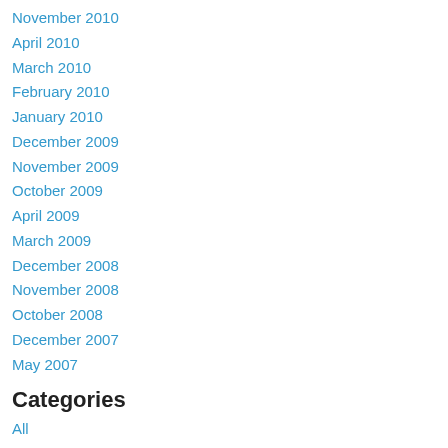November 2010
April 2010
March 2010
February 2010
January 2010
December 2009
November 2009
October 2009
April 2009
March 2009
December 2008
November 2008
October 2008
December 2007
May 2007
Categories
All
1024-Bit Battle Royale 2010: SSH Complex
Aaa And Casual Game Design Winners
Academy Awards